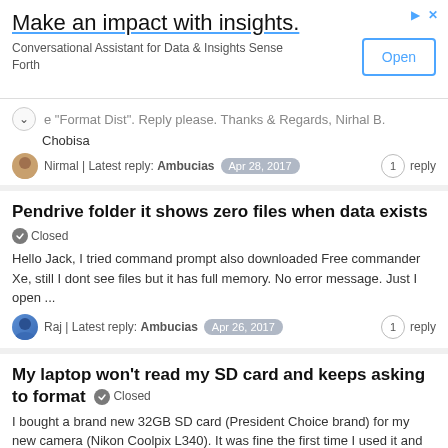[Figure (screenshot): Advertisement banner: 'Make an impact with insights.' with Open button]
e "Format Dist". Reply please. Thanks & Regards, Nirhal B. Chobisa
Nirmal | Latest reply: Ambucias  Apr 28, 2017  1 reply
Pendrive folder it shows zero files when data exists
Closed
Hello Jack, I tried command prompt also downloaded Free commander Xe, still I dont see files but it has full memory. No error message. Just I open ...
Raj | Latest reply: Ambucias  Apr 26, 2017  1 reply
My laptop won't read my SD card and keeps asking to format
Closed
I bought a brand new 32GB SD card (President Choice brand) for my new camera (Nikon Coolpix L340). It was fine the first time I used it and transferre